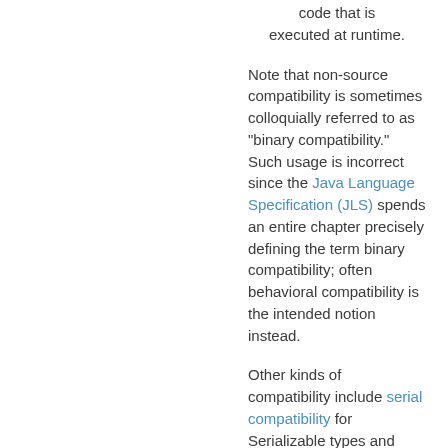code that is executed at runtime.
Note that non-source compatibility is sometimes colloquially referred to as "binary compatibility." Such usage is incorrect since the Java Language Specification (JLS) spends an entire chapter precisely defining the term binary compatibility; often behavioral compatibility is the intended notion instead.
Other kinds of compatibility include serial compatibility for Serializable types and migration compatibility. Migration compatibility was a constraint on how generics were added to the platform; libraries and their clients had to be able to be